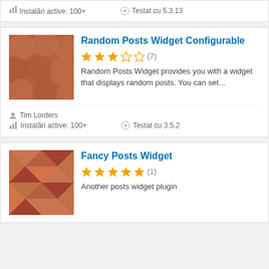Instalări active: 100+    Testat cu 5.3.13
Random Posts Widget Configurable
[Figure (illustration): Plugin thumbnail with brown/terracotta circles pattern]
★★★☆☆ (7)
Random Posts Widget provides you with a widget that displays random posts. You can set...
Tim Lorders
Instalări active: 100+    Testat cu 3.5.2
Fancy Posts Widget
[Figure (illustration): Plugin thumbnail with terracotta geometric triangles pattern]
★★★★★ (1)
Another posts widget plugin